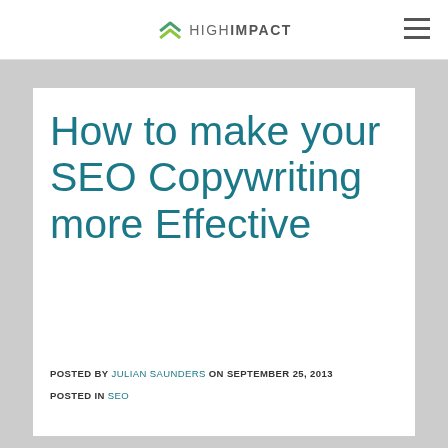HIGH IMPACT
How to make your SEO Copywriting more Effective
POSTED BY JULIAN SAUNDERS ON SEPTEMBER 25, 2013
POSTED IN SEO